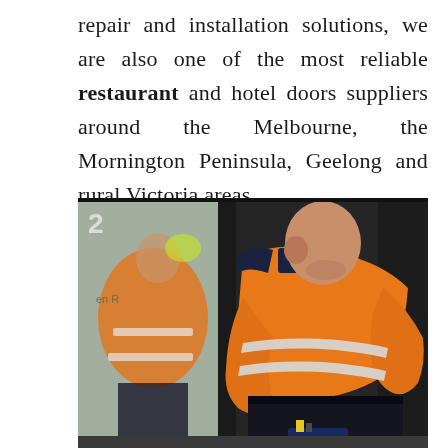repair and installation solutions, we are also one of the most reliable restaurant and hotel doors suppliers around the Melbourne, the Mornington Peninsula, Geelong and rural Victoria areas.
[Figure (photo): A bald man in an orange high-visibility jacket with reflective silver stripes bending over to work on a glass door installation. His reflection is visible in the glass panel. The scene appears to be at a commercial building entrance. Tools are visible on the ground.]